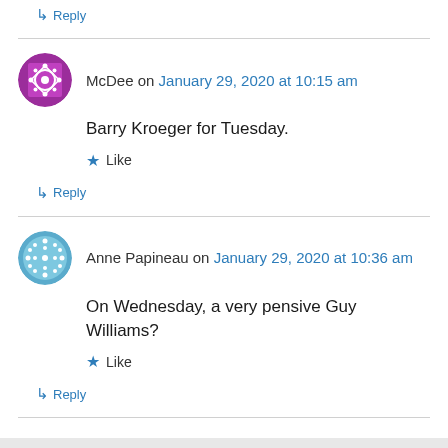↳ Reply
McDee on January 29, 2020 at 10:15 am
Barry Kroeger for Tuesday.
Like
↳ Reply
Anne Papineau on January 29, 2020 at 10:36 am
On Wednesday, a very pensive Guy Williams?
Like
↳ Reply